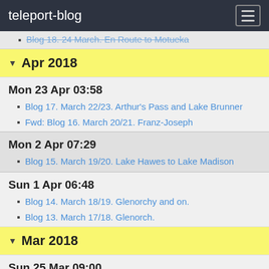teleport-blog
Blog 18. 24 March. En Route to Motueka
▼ Apr 2018
Mon 23 Apr 03:58
Blog 17. March 22/23. Arthur's Pass and Lake Brunner
Fwd: Blog 16. March 20/21. Franz-Joseph
Mon 2 Apr 07:29
Blog 15. March 19/20. Lake Hawes to Lake Madison
Sun 1 Apr 06:48
Blog 14. March 18/19. Glenorchy and on.
Blog 13. March 17/18. Glenorch.
▼ Mar 2018
Sun 25 Mar 09:00
March 16/17. Lake Wakatipu, Queenstown and Glenorchy
Blog 11. March 14/15. Milford Sound continued and on to towards Queenstown.
Blog 10. March 13/14. Te Anau to Milford